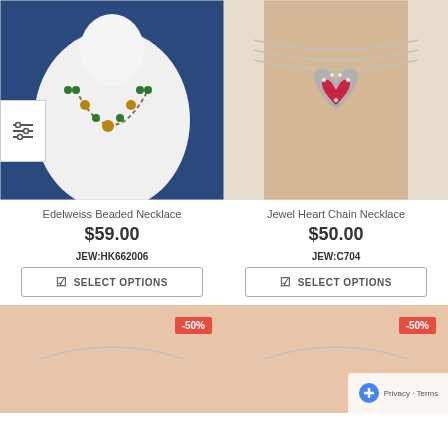[Figure (photo): Edelweiss beaded necklace with green beads and gold floral links on a white jewelry bust against blue background]
[Figure (photo): Jewel Heart Chain Necklace with red heart crystal pendant and rhinestone chain on a beige mannequin]
Edelweiss Beaded Necklace
$59.00
JEW:HK662006
SELECT OPTIONS
Jewel Heart Chain Necklace
$50.00
JEW:C704
SELECT OPTIONS
[Figure (photo): Silver chain necklace on skin, with -50% sale badge]
[Figure (photo): Silver chain necklace on skin, with -50% sale badge and Privacy Terms overlay]